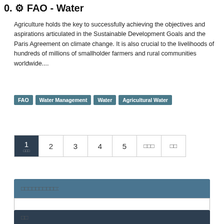0. ⚙ FAO - Water
Agriculture holds the key to successfully achieving the objectives and aspirations articulated in the Sustainable Development Goals and the Paris Agreement on climate change. It is also crucial to the livelihoods of hundreds of millions of smallholder farmers and rural communities worldwide....
FAO | Water Management | Water | Agricultural Water
1  2  3  4  5  □□□  □□
□□□□□□□□□□:
□□